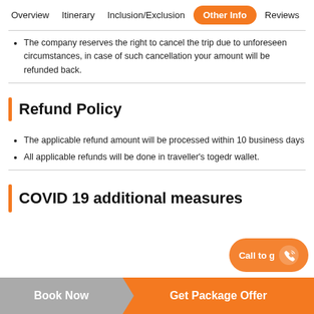Overview  Itinerary  Inclusion/Exclusion  Other Info  Reviews
The company reserves the right to cancel the trip due to unforeseen circumstances, in case of such cancellation your amount will be refunded back.
Refund Policy
The applicable refund amount will be processed within 10 business days
All applicable refunds will be done in traveller's togedr wallet.
COVID 19 additional measures